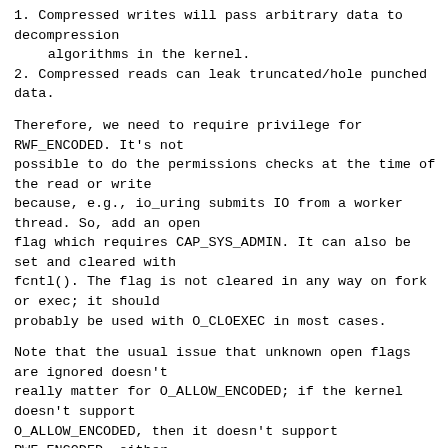1. Compressed writes will pass arbitrary data to decompression
    algorithms in the kernel.
2. Compressed reads can leak truncated/hole punched data.
Therefore, we need to require privilege for RWF_ENCODED. It's not
possible to do the permissions checks at the time of the read or write
because, e.g., io_uring submits IO from a worker thread. So, add an open
flag which requires CAP_SYS_ADMIN. It can also be set and cleared with
fcntl(). The flag is not cleared in any way on fork or exec; it should
probably be used with O_CLOEXEC in most cases.
Note that the usual issue that unknown open flags are ignored doesn't
really matter for O_ALLOW_ENCODED; if the kernel doesn't support
O_ALLOW_ENCODED, then it doesn't support RWF_ENCODED, either.
Signed-off-by: Omar Sandoval <osandov@fb.com>
---
arch/alpha/include/uapi/asm/fcntl.h  |  1 +
arch/parisc/include/uapi/asm/fcntl.h |  1 +
arch/sparc/include/uapi/asm/fcntl.h  |  1 +